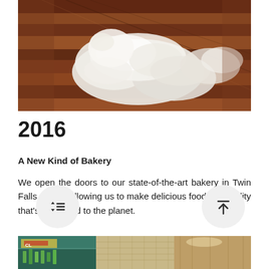[Figure (photo): A white fluffy dog or cat resting on wooden steps or stair treads with rich reddish-brown wood tones]
2016
A New Kind of Bakery
We open the doors to our state-of-the-art bakery in Twin Falls, Idaho, allowing us to make delicious food in a facility that's also good to the planet.
[Figure (photo): Bottom portion of a storefront or market scene, partially visible]